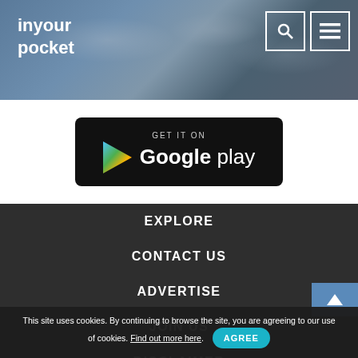inyour pocket
[Figure (screenshot): Google Play store badge with colorful play triangle logo, text 'GET IT ON Google play' on black rounded rectangle background]
EXPLORE
CONTACT US
ADVERTISE
JOIN US
DISCLAIMER
PRESS
This site uses cookies. By continuing to browse the site, you are agreeing to our use of cookies. Find out more here. AGREE